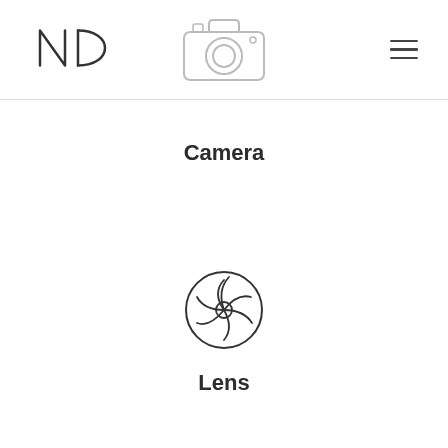[Figure (logo): ND logo mark in thin line style, letters N and D]
[Figure (illustration): Camera icon outline in light gray]
[Figure (illustration): Hamburger menu icon, three horizontal lines]
Camera
[Figure (illustration): Lens/aperture icon outline, circular with spiral blades]
Lens